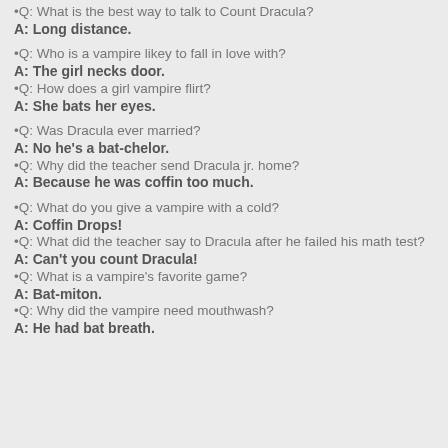•Q: What is the best way to talk to Count Dracula?
A: Long distance.
•Q: Who is a vampire likey to fall in love with?
A: The girl necks door.
•Q: How does a girl vampire flirt?
A: She bats her eyes.
•Q: Was Dracula ever married?
A: No he's a bat-chelor.
•Q: Why did the teacher send Dracula jr. home?
A: Because he was coffin too much.
•Q: What do you give a vampire with a cold?
A: Coffin Drops!
•Q: What did the teacher say to Dracula after he failed his math test?
A: Can't you count Dracula!
•Q: What is a vampire's favorite game?
A: Bat-miton.
•Q: Why did the vampire need mouthwash?
A: He had bat breath.